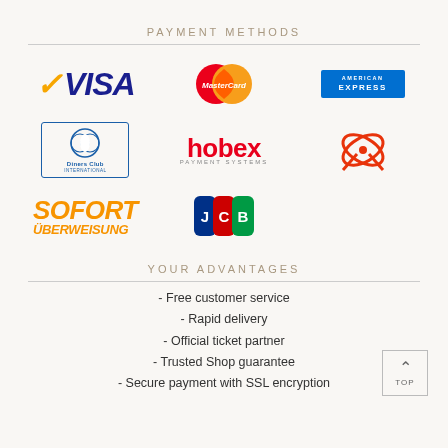PAYMENT METHODS
[Figure (logo): Payment method logos: Visa, MasterCard, American Express, Diners Club International, hobex PAYMENT SYSTEMS, gift/ribbon icon, SOFORT ÜBERWEISUNG, JCB]
YOUR ADVANTAGES
- Free customer service
- Rapid delivery
- Official ticket partner
- Trusted Shop guarantee
- Secure payment with SSL encryption